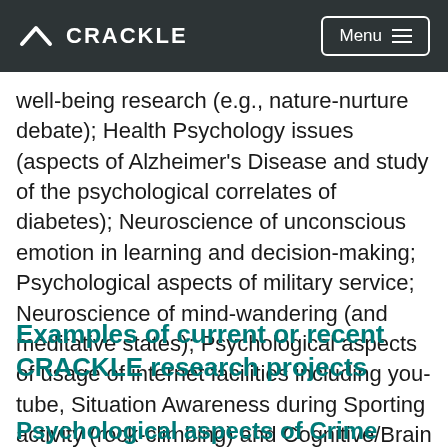CRACKLE   Menu
well-being research (e.g., nature-nurture debate); Health Psychology issues (aspects of Alzheimer's Disease and study of the psychological correlates of diabetes); Neuroscience of unconscious emotion in learning and decision-making; Psychological aspects of military service; Neuroscience of mind-wandering (and meditative states); Psychological aspects of usage of internet facilities including you-tube, Situation Awareness during Sporting activity (rock-climbing) and Cognitive/Brain Effects of Exercise.
Examples of current or recent CRACKLE research projects
Psychological aspects of Crime